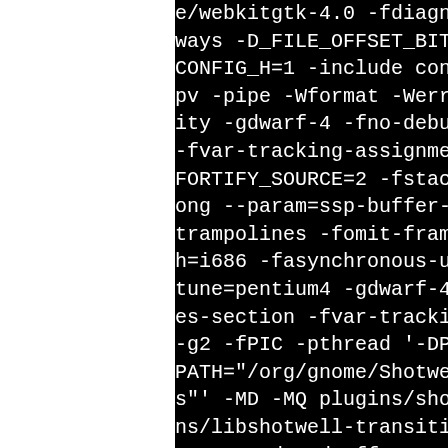e/webkitgtk-4.0 -fdiagnos ways -D_FILE_OFFSET_BITS= CONFIG_H=1 -include config pv -pipe -Wformat -Werror= ity -gdwarf-4 -fno-debug- -fvar-tracking-assignments FORTIFY_SOURCE=2 -fstack-p ong --param=ssp-buffer-siz trampolines -fomit-frame-p h=i686 -fasynchronous-unwi tune=pentium4 -gdwarf-4 - es-section -fvar-tracking- -g2 -fPIC -pthread '-DPLUG PATH="/org/gnome/Shotwell/ s"' -MD -MQ plugins/shotwe ns/libshotwell-transitions generated_FadeEffect.c.o hotwell-transitions/libsho tions.so.p/meson-generated c.o.d -o plugins/shotwell libshotwell-transitions.so erated_FadeEffect.c.o -c p ell-transitions/libshotwe s.so.p/FadeEffect.c